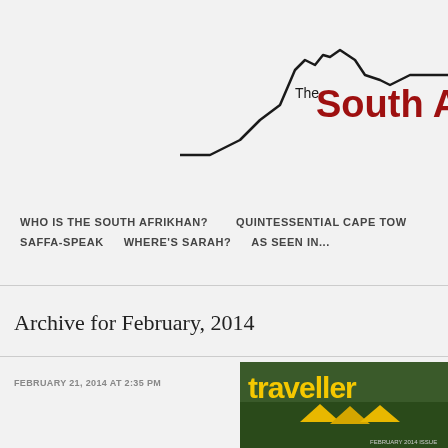[Figure (logo): The South Afrikhan logo with mountain silhouette line drawing in black and bold dark red text reading 'The South A' (partially visible)]
WHO IS THE SOUTH AFRIKHAN?  QUINTESSENTIAL CAPE TOW  SAFFA-SPEAK  WHERE'S SARAH?  AS SEEN IN...
Archive for February, 2014
FEBRUARY 21, 2014 AT 2:35 PM
[Figure (photo): Magazine cover showing the word 'traveller' in yellow text over a tropical scene with yellow tents and green foliage]